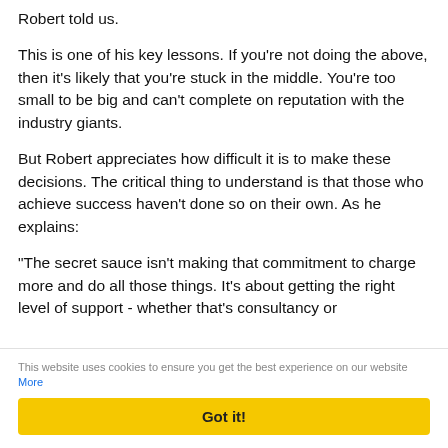Robert told us.
This is one of his key lessons. If you're not doing the above, then it's likely that you're stuck in the middle. You're too small to be big and can't complete on reputation with the industry giants.
But Robert appreciates how difficult it is to make these decisions. The critical thing to understand is that those who achieve success haven't done so on their own. As he explains:
“The secret sauce isn’t making that commitment to charge more and do all those things. It’s about getting the right level of support - whether that’s consultancy or
This website uses cookies to ensure you get the best experience on our website More
Got it!